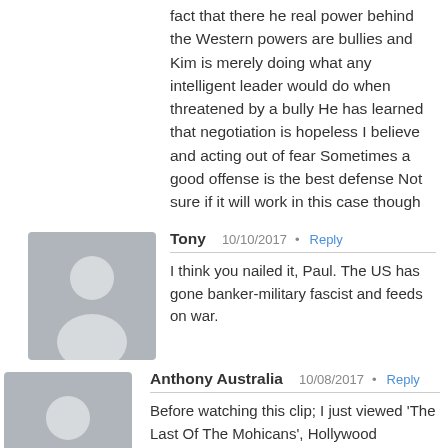fact that there he real power behind the Western powers are bullies and Kim is merely doing what any intelligent leader would do when threatened by a bully He has learned that negotiation is hopeless I believe and acting out of fear Sometimes a good offense is the best defense Not sure if it will work in this case though
Tony  10/10/2017  Reply
I think you nailed it, Paul. The US has gone banker-military fascist and feeds on war.
Anthony Australia  10/08/2017  Reply
Before watching this clip; I just viewed 'The Last Of The Mohicans', Hollywood propaganda or real